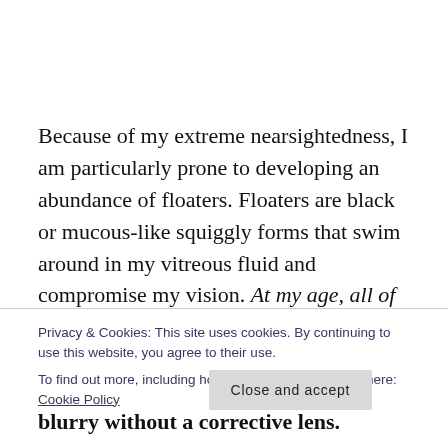Because of my extreme nearsightedness, I am particularly prone to developing an abundance of floaters. Floaters are black or mucous-like squiggly forms that swim around in my vitreous fluid and compromise my vision. At my age, all of my original floaters have now had grandchildren.
Privacy & Cookies: This site uses cookies. By continuing to use this website, you agree to their use.
To find out more, including how to control cookies, see here: Cookie Policy
blurry without a corrective lens.